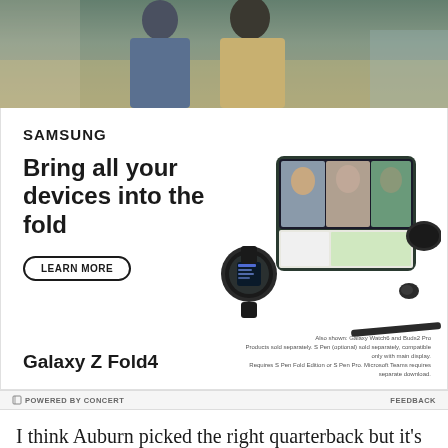[Figure (photo): Samsung advertisement banner showing people in a classroom/office setting from above, used as the top image of the ad]
[Figure (infographic): Samsung Galaxy Z Fold4 advertisement with Samsung logo, headline 'Bring all your devices into the fold', LEARN MORE button, product images of Galaxy Z Fold4, Galaxy Watch6, Galaxy Buds2 Pro, and S Pen]
POWERED BY CONCERT
FEEDBACK
I think Auburn picked the right quarterback but it's hard